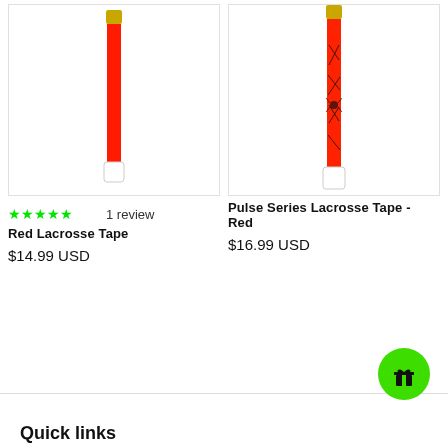[Figure (photo): Red lacrosse tape product image - solid red tape with gold and white ends, vertical orientation]
[Figure (photo): Pulse Series Lacrosse Tape Red - red tape with black spider/web design pattern, gold and white ends, vertical orientation]
★★★★★ 1 review
Red Lacrosse Tape
$14.99 USD
Pulse Series Lacrosse Tape - Red
$16.99 USD
Quick links